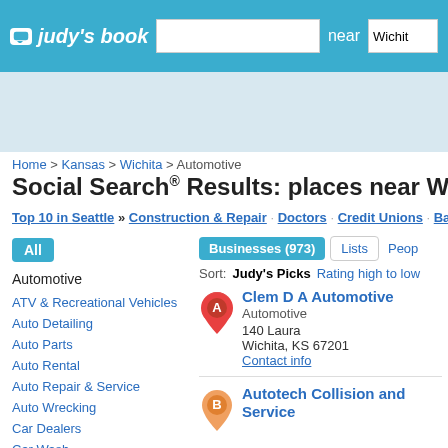judy's book — search near Wichita
[Figure (screenshot): Ad banner area with light blue background]
Home > Kansas > Wichita > Automotive
Social Search® Results: places near Wichita, KS (0.03...)
Top 10 in Seattle » Construction & Repair · Doctors · Credit Unions · Bars · More
All
Automotive
ATV & Recreational Vehicles
Auto Detailing
Auto Parts
Auto Rental
Auto Repair & Service
Auto Wrecking
Car Dealers
Car Wash
Businesses (973) | Lists | People
Sort: Judy's Picks | Rating high to low
Clem D A Automotive
Automotive
140 Laura
Wichita, KS 67201
Contact info
Autotech Collision and Service